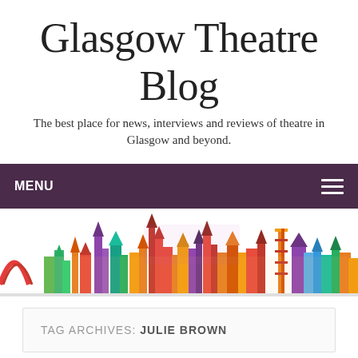Glasgow Theatre Blog
The best place for news, interviews and reviews of theatre in Glasgow and beyond.
MENU
[Figure (illustration): Colorful watercolor illustration of the Glasgow city skyline featuring recognizable landmarks in rainbow colors against a white background.]
TAG ARCHIVES: JULIE BROWN